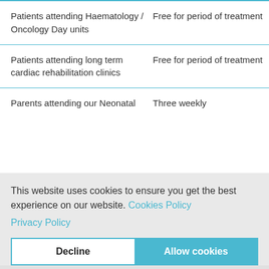| Patient Category | Benefit |
| --- | --- |
| Patients attending Haematology / Oncology Day units | Free for period of treatment |
| Patients attending long term cardiac rehabilitation clinics | Free for period of treatment |
| Parents attending our Neonatal Intensive Care Unit (NICU) at St Peters Hospital | Three weekly permit ... |
This website uses cookies to ensure you get the best experience on our website. Cookies Policy
Privacy Policy
Decline | Allow cookies